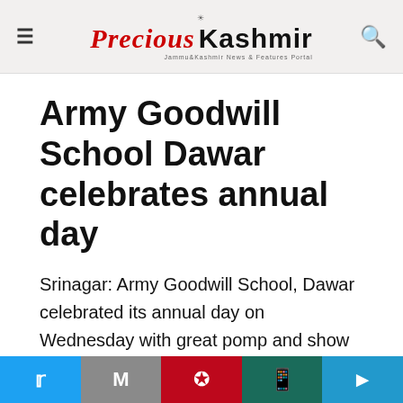Precious Kashmir
Army Goodwill School Dawar celebrates annual day
Srinagar: Army Goodwill School, Dawar celebrated its annual day on Wednesday with great pomp and show on the momentous occasion of its 18th Raising year.
This website uses cookies. Accept
Social share buttons: Twitter, Gmail, Pinterest, WhatsApp, Share